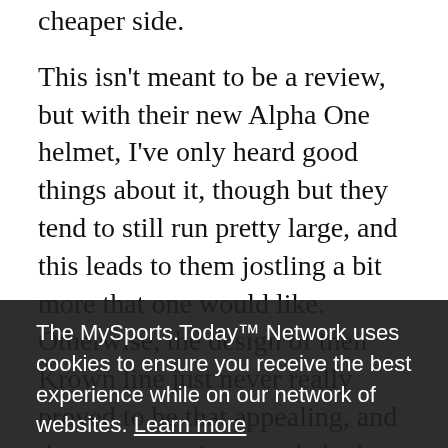However, at least to me, all of their kit just feels on the cheaper side.

This isn't meant to be a review, but with their new Alpha One helmet, I've only heard good things about it, though but they tend to still run pretty large, and this leads to them jostling a bit more that one would like. Otherwise, the design of their Krown line just never really proved to be that appealing, and the same reaction people had to the "spaceman" helmets of the 80's and 90's is what I have to Warrior, except in the opposite direction. They just are too generic at best, and ugly at worst.
The MySports.Today™ Network uses cookies to ensure you receive the best experience while on our network of websites. Learn more
Got it!